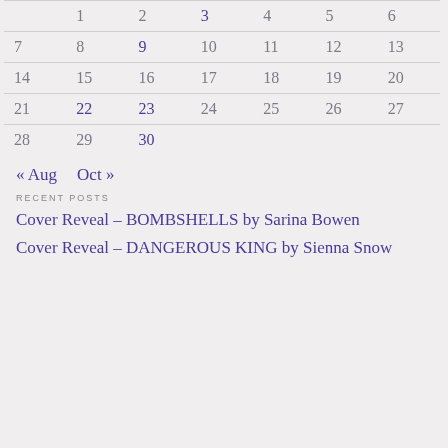|  | 1 | 2 | 3 | 4 | 5 | 6 |
| --- | --- | --- | --- | --- | --- | --- |
| 7 | 8 | 9 | 10 | 11 | 12 | 13 |
| 14 | 15 | 16 | 17 | 18 | 19 | 20 |
| 21 | 22 | 23 | 24 | 25 | 26 | 27 |
| 28 | 29 | 30 |  |  |  |  |
« Aug   Oct »
RECENT POSTS
Cover Reveal – BOMBSHELLS by Sarina Bowen
Cover Reveal – DANGEROUS KING by Sienna Snow